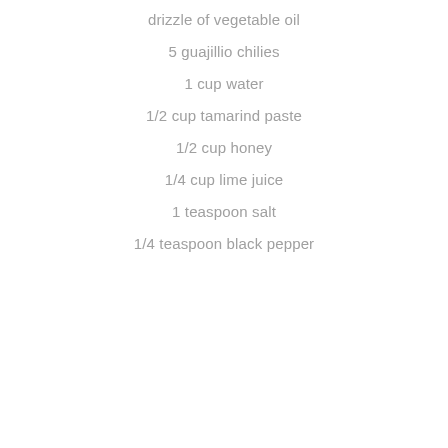drizzle of vegetable oil
5 guajillio chilies
1 cup water
1/2 cup tamarind paste
1/2 cup honey
1/4 cup lime juice
1 teaspoon salt
1/4 teaspoon black pepper